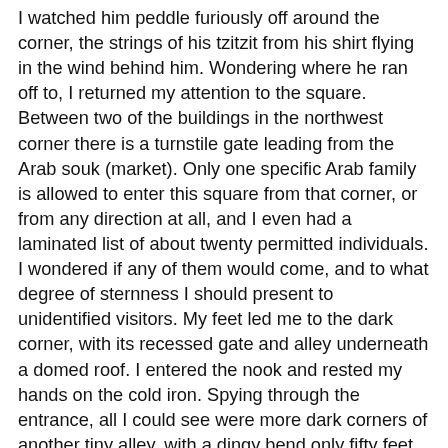I watched him peddle furiously off around the corner, the strings of his tzitzit from his shirt flying in the wind behind him. Wondering where he ran off to, I returned my attention to the square. Between two of the buildings in the northwest corner there is a turnstile gate leading from the Arab souk (market). Only one specific Arab family is allowed to enter this square from that corner, or from any direction at all, and I even had a laminated list of about twenty permitted individuals. I wondered if any of them would come, and to what degree of sternness I should present to unidentified visitors. My feet led me to the dark corner, with its recessed gate and alley underneath a domed roof. I entered the nook and rested my hands on the cold iron. Spying through the entrance, all I could see were more dark corners of another tiny alley, with a dingy bend only fifty feet ahead. Not a soul in sight.
“Danny! Hey!” Yosef called me again out of my pondering mind as he bore down on me from the far street. “What are you doing?”
I stepped away from the turnstile and walked across the small square to where he stopped. He had brought us wet